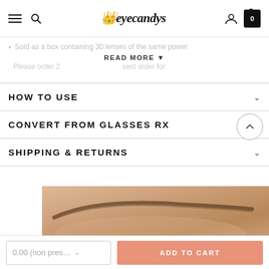eyecandys
Sold as a box containing 30 lenses of the same power
READ MORE ▼
Please order 2 … … … … … …sent order for
HOW TO USE
CONVERT FROM GLASSES RX
SHIPPING & RETURNS
[Figure (photo): Close-up photo of a person's eye and eyebrow area, showing skin and brow detail]
0.00 (non pres…
ADD TO CART